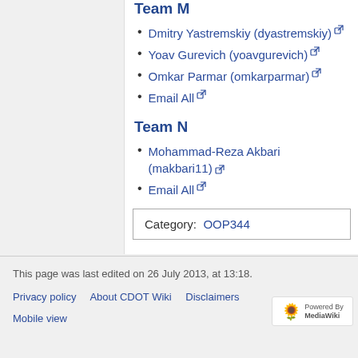Team M (partial, top cut off)
Dmitry Yastremskiy (dyastremskiy)
Yoav Gurevich (yoavgurevich)
Omkar Parmar (omkarparmar)
Email All
Team N
Mohammad-Reza Akbari (makbari11)
Email All
Category:  OOP344
This page was last edited on 26 July 2013, at 13:18.
Privacy policy  About CDOT Wiki  Disclaimers
Mobile view